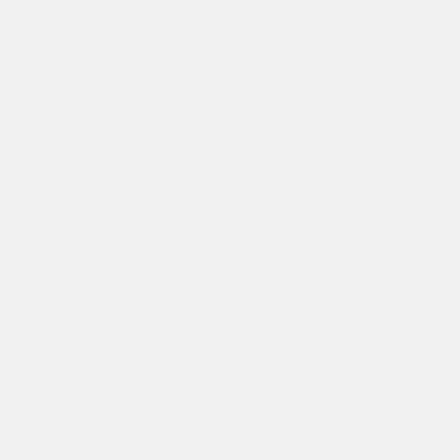by the 3D motion analysis Vicon present study analysed running d (3 females and 2 males) with MS Paired t-tests were used to identi significant changes (p>0.05) in a step length, suggesting motor fat to last minute of the running task. ankle kinematics nor step length significant changes from the begi 20-minute running protocol in the participants. One of the five MS p a reduction in peak ankle dorsifle greater than two degrees which w clinically significant, presenting a footdrop as an outcome of motor Conclusion: Changes in running p measured during a 20-minute run functional individuals with MS to fatigability. The results of this stu clinical implications regarding foo impaired MS population during ru research is required to confirm su highly functional people with MS.